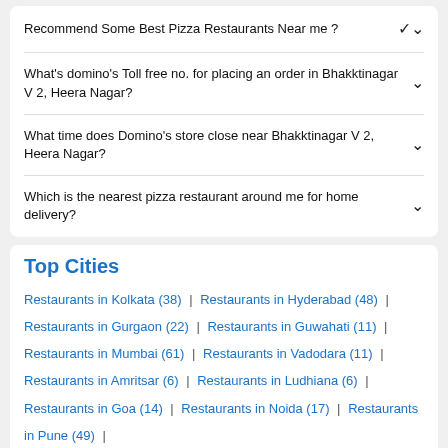Recommend Some Best Pizza Restaurants Near me ?
What's domino's Toll free no. for placing an order in Bhakktinagar V 2, Heera Nagar?
What time does Domino's store close near Bhakktinagar V 2, Heera Nagar?
Which is the nearest pizza restaurant around me for home delivery?
Top Cities
Restaurants in Kolkata (38) | Restaurants in Hyderabad (48) | Restaurants in Gurgaon (22) | Restaurants in Guwahati (11) | Restaurants in Mumbai (61) | Restaurants in Vadodara (11) | Restaurants in Amritsar (6) | Restaurants in Ludhiana (6) | Restaurants in Goa (14) | Restaurants in Noida (17) | Restaurants in Pune (49) | Restaurants in Indore (10) | Restaurants in Dehradun (6) | Restaurants in New Delhi (88) | Restaurants in Ahmedabad (27)